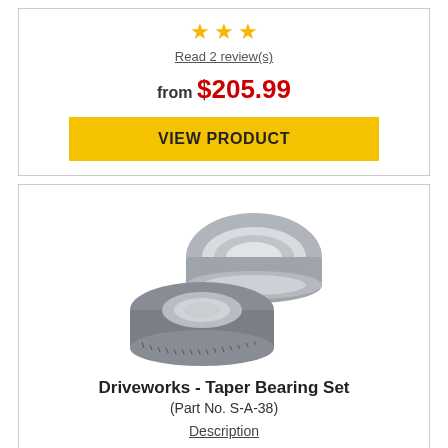[Figure (other): Three gold star rating icons]
Read 2 review(s)
from $205.99
VIEW PRODUCT
[Figure (photo): Driveworks Taper Bearing Set product photo showing two metallic bearing rings]
Driveworks - Taper Bearing Set
(Part No. S-A-38)
Description